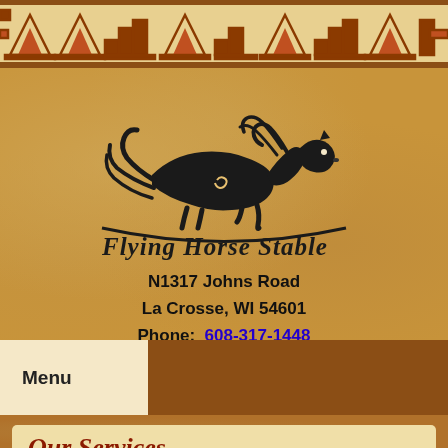[Figure (illustration): Decorative Southwestern/Native American geometric pattern border strip at the top of the page in tan and brown colors]
[Figure (logo): Flying Horse Stable logo: a stylized running horse silhouette in black with flowing mane and tail, with a curved ground line beneath, and cursive text 'Flying Horse Stable' below the horse]
N1317 Johns Road
La Crosse, WI 54601
Phone:  608-317-1448
Menu
Our Services